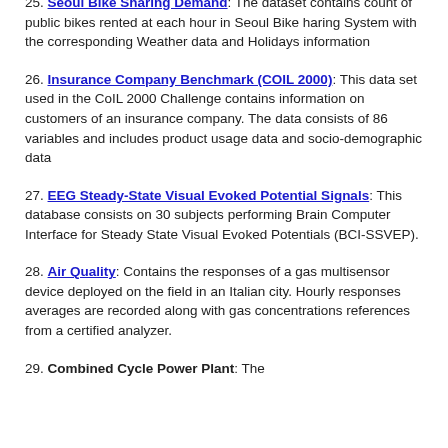geographical auxiliary variables over Seoul, South Korea in the summer.
25. Seoul Bike Sharing Demand: The dataset contains count of public bikes rented at each hour in Seoul Bike haring System with the corresponding Weather data and Holidays information
26. Insurance Company Benchmark (COIL 2000): This data set used in the CoIL 2000 Challenge contains information on customers of an insurance company. The data consists of 86 variables and includes product usage data and socio-demographic data
27. EEG Steady-State Visual Evoked Potential Signals: This database consists on 30 subjects performing Brain Computer Interface for Steady State Visual Evoked Potentials (BCI-SSVEP).
28. Air Quality: Contains the responses of a gas multisensor device deployed on the field in an Italian city. Hourly responses averages are recorded along with gas concentrations references from a certified analyzer.
29. Combined Cycle Power Plant: The